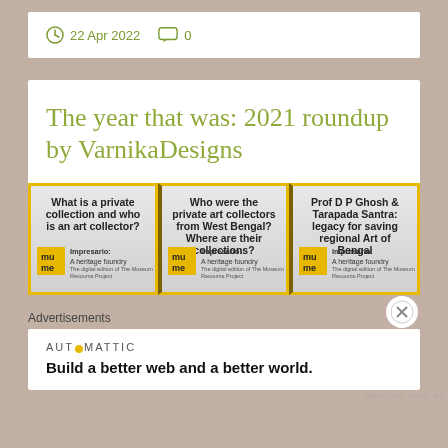22 Apr 2022  0
The year that was: 2021 roundup by VarnikaDesigns
[Figure (illustration): Three thumbnail cards showing museum/art collection podcast episodes: 1) What is a private collection and who is an art collector? 2) Who were the private art collectors from West Bengal? Where are their collections? 3) Prof D P Ghosh & Tarapada Santra: legacy for saving regional Art of Bengal. Each card shows 'mume' logo, 'Impresario: A heritage foundry' branding.]
Advertisements
AUTOMATTIC
Build a better web and a better world.